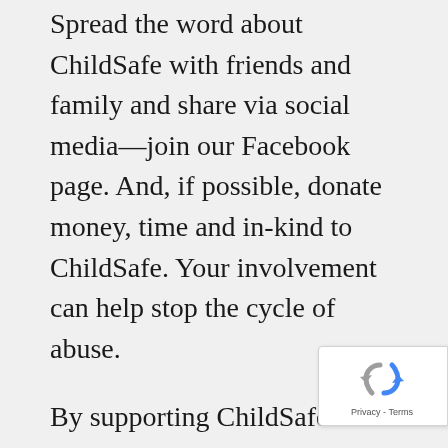Spread the word about ChildSafe with friends and family and share via social media—join our Facebook page. And, if possible, donate money, time and in-kind to ChildSafe. Your involvement can help stop the cycle of abuse.
By supporting ChildSafe's efforts to deliver comprehensive, expert treatment to child survivors of abuse and neglect, you offer real hope that working together we can reduce maltreatment of children in our community. In addition, your contribution will help fund our outreach and education programs to prevent